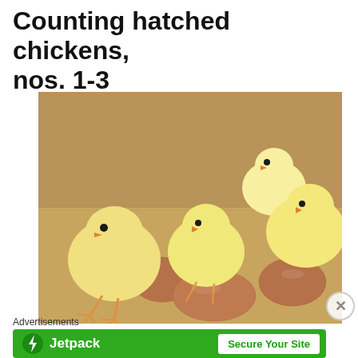Counting hatched chickens, nos. 1-3
[Figure (photo): Four yellow baby chicks standing around three brown eggs on a cardboard surface]
Advertisements
[Figure (infographic): Jetpack advertisement banner with logo and 'Secure Your Site' button on green background]